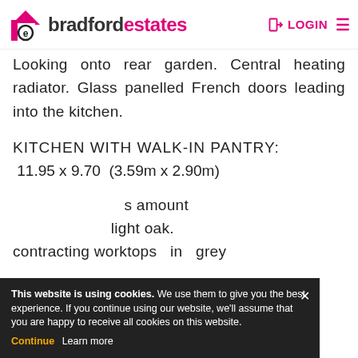bradford estates  LOGIN
Looking onto rear garden. Central heating radiator. Glass panelled French doors leading into the kitchen.
KITCHEN WITH WALK-IN PANTRY:
11.95 x 9.70  (3.59m x 2.90m)
...s amount ...light oak. ...contrasting worktops  in grey
This website is using cookies. We use them to give you the best experience. If you continue using our website, we'll assume that you are happy to receive all cookies on this website. Continue  Learn more